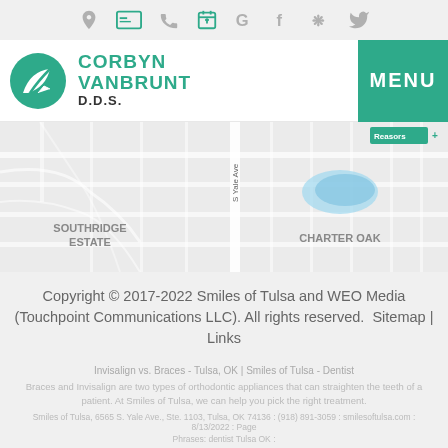Icon navigation bar with location, card, phone, calendar, Google, Facebook, Yelp, Twitter icons
[Figure (logo): Corbyn VanBrunt D.D.S. logo with teal leaf icon]
[Figure (map): Google Maps partial view showing Southridge Estate and Charter Oak neighborhoods with S Yale Ave]
Copyright © 2017-2022 Smiles of Tulsa and WEO Media (Touchpoint Communications LLC). All rights reserved.  Sitemap | Links
Invisalign vs. Braces - Tulsa, OK | Smiles of Tulsa - Dentist
Braces and Invisalign are two types of orthodontic appliances that can straighten the teeth of a patient. At Smiles of Tulsa, we can help you pick the right treatment.
Smiles of Tulsa, 6565 S. Yale Ave., Ste. 1103, Tulsa, OK 74136 : (918) 891-3059 : smilesoftulsa.com : 8/13/2022 : Page
Phrases: dentist Tulsa OK :